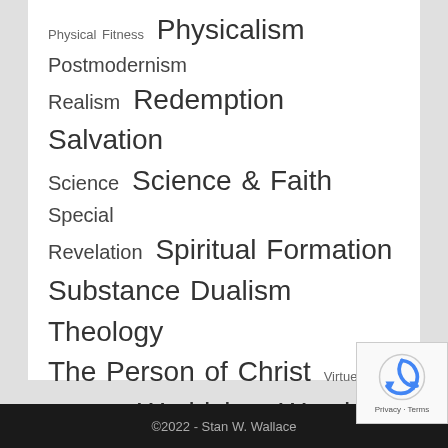[Figure (infographic): Tag cloud showing topic keywords at varying font sizes: Physical Fitness (small), Physicalism (large), Postmodernism (medium), Realism (medium), Redemption (large), Salvation (large), Science (medium), Science & Faith (large), Special Revelation (medium/small mix), Spiritual Formation (large), Substance Dualism (large), Theology (large), The Person of Christ (large), Virtue Ethics (small), Vocation (medium), Worldview (large), Worship (large)]
©2022 - Stan W. Wallace